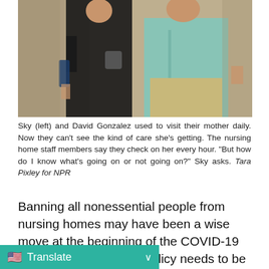[Figure (photo): Two people standing side by side outdoors. Person on left wearing black clothing with a bag, person on right wearing a light blue/teal short-sleeve button-up shirt and beige pants.]
Sky (left) and David Gonzalez used to visit their mother daily. Now they can't see the kind of care she's getting. The nursing home staff members say they check on her every hour. "But how do I know what's going on or not going on?" Sky asks. Tara Pixley for NPR
Banning all nonessential people from nursing homes may have been a wise move at the beginning of the COVID-19 outbreak. But now the policy needs to be reconsidered, says Tony Chicotel, a staff attorney [for Nursing Home Reform.] [isn't kept COVID-19 out of